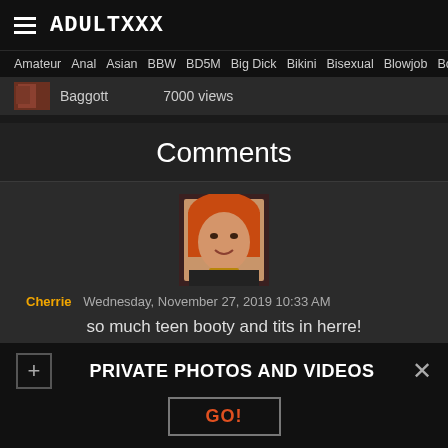ADULTXXX
Amateur  Anal  Asian  BBW  BD5M  Big Dick  Bikini  Bisexual  Blowjob  Boobs
Baggott   7000 views
Comments
[Figure (photo): Avatar of user Cherrie: woman with orange/red hair]
Cherrie   Wednesday, November 27, 2019 10:33 AM
so much teen booty and tits in herre!
[Figure (photo): Partial avatar of second commenter: woman with dark hair]
PRIVATE PHOTOS AND VIDEOS
GO!